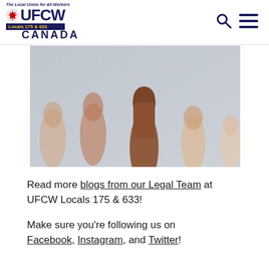[Figure (logo): UFCW Canada Locals 175 & 633 logo with maple leaf and text 'The Local Union for All Workers']
[Figure (photo): Five raised fists of people with different skin tones against a light grey background, symbolizing unity and solidarity]
Read more blogs from our Legal Team at UFCW Locals 175 & 633!
Make sure you're following us on Facebook, Instagram, and Twitter!